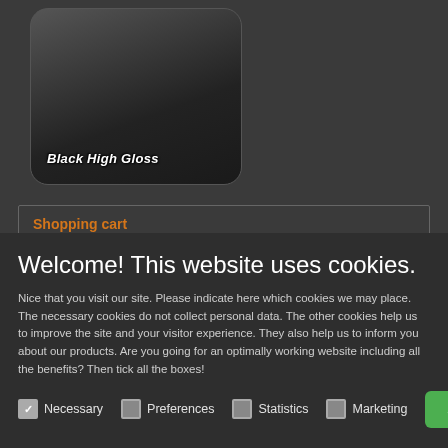[Figure (photo): Product image of Black High Gloss item, dark rounded-corner box with gradient]
Black High Gloss
Shopping cart
Your basket is empty
Welcome! This website uses cookies.
Nice that you visit our site. Please indicate here which cookies we may place. The necessary cookies do not collect personal data. The other cookies help us to improve the site and your visitor experience. They also help us to inform you about our products. Are you going for an optimally working website including all the benefits? Then tick all the boxes!
Necessary
Preferences
Statistics
Marketing